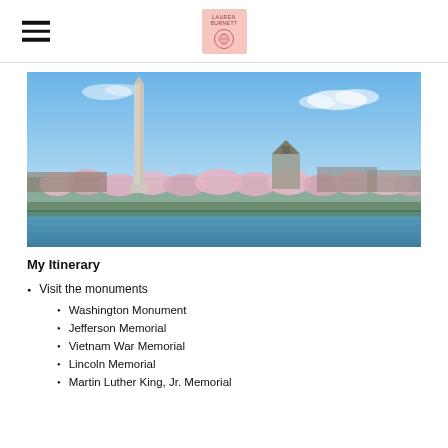[Figure (logo): Pink square logo with circular emblem and text]
[Figure (photo): Washington DC skyline with Washington Monument and cherry blossoms along the Tidal Basin under blue sky]
My Itinerary
Visit the monuments
Washington Monument
Jefferson Memorial
Vietnam War Memorial
Lincoln Memorial
Martin Luther King, Jr. Memorial